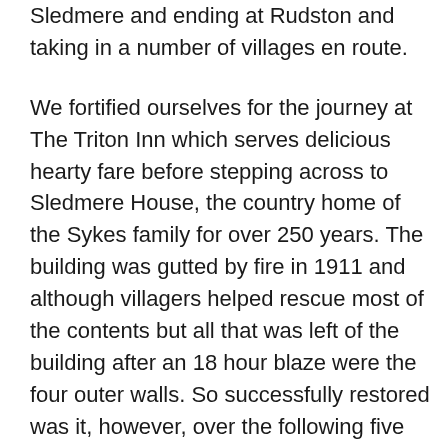Sledmere and ending at Rudston and taking in a number of villages en route. We fortified ourselves for the journey at The Triton Inn which serves delicious hearty fare before stepping across to Sledmere House, the country home of the Sykes family for over 250 years. The building was gutted by fire in 1911 and although villagers helped rescue most of the contents but all that was left of the building after an 18 hour blaze were the four outer walls. So successfully restored was it, however, over the following five years that it still seems a beautiful Georgian gem with fine rooms including the fabulous blue-tiled